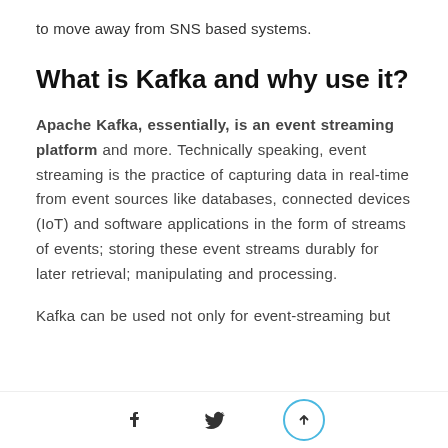to move away from SNS based systems.
What is Kafka and why use it?
Apache Kafka, essentially, is an event streaming platform and more. Technically speaking, event streaming is the practice of capturing data in real-time from event sources like databases, connected devices (IoT) and software applications in the form of streams of events; storing these event streams durably for later retrieval; manipulating and processing.
Kafka can be used not only for event-streaming but
social share icons and scroll-to-top button